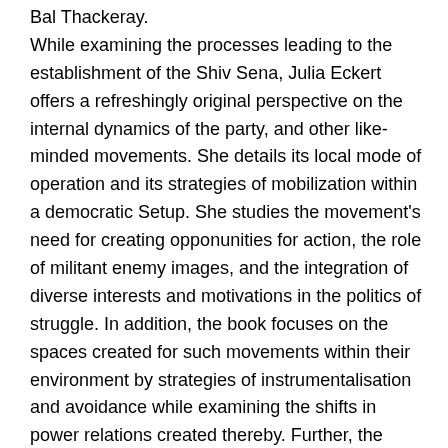Bal Thackeray. While examining the processes leading to the establishment of the Shiv Sena, Julia Eckert offers a refreshingly original perspective on the internal dynamics of the party, and other like-minded movements. She details its local mode of operation and its strategies of mobilization within a democratic Setup. She studies the movement's need for creating opponunities for action, the role of militant enemy images, and the integration of diverse interests and motivations in the politics of struggle. In addition, the book focuses on the spaces created for such movements within their environment by strategies of instrumentalisation and avoidance while examining the shifts in power relations created thereby. Further, the book discusses the party posnire of protest, its culture of militancy and its ideology of action. It examines